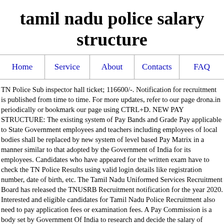tamil nadu police salary structure
Home | Service | About | Contacts | FAQ
TN Police Sub inspector hall ticket; 116600/-. Notification for recruitment is published from time to time. For more updates, refer to our page drona.in periodically or bookmark our page using CTRL+D. NEW PAY STRUCTURE: The existing system of Pay Bands and Grade Pay applicable to State Government employees and teachers including employees of local bodies shall be replaced by new system of level based Pay Matrix in a manner similar to that adopted by the Government of India for its employees. Candidates who have appeared for the written exam have to check the TN Police Results using valid login details like registration number, date of birth, etc. The Tamil Nadu Uniformed Services Recruitment Board has released the TNUSRB Recruitment notification for the year 2020. Interested and eligible candidates for Tamil Nadu Police Recruitment also need to pay application fees or examination fees. A Pay Commission is a body set by Government Of India to research and decide the salary of Central Government Employees as per the rate of inflation in Indian Economy. The third column represents the amount and while to